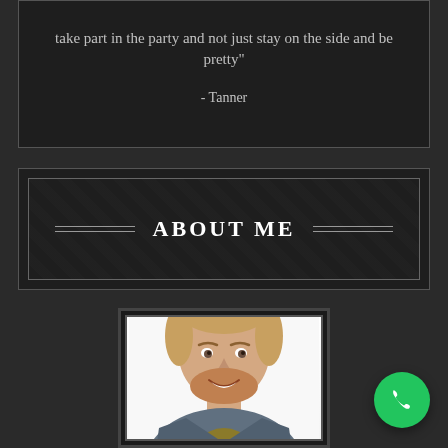had some good night and party. She does take part in the party and not just stay on the side and be pretty"
- Tanner
ABOUT ME
[Figure (photo): Headshot photo of a young man with light brown hair and a beard, smiling, wearing a grey blazer over a dark yellow/olive shirt, against a white background]